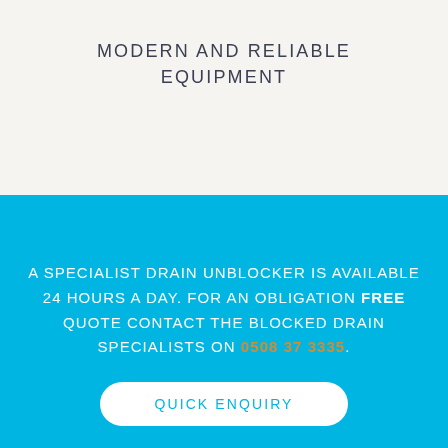MODERN AND RELIABLE EQUIPMENT
A SPECIALIST DRAIN UNBLOCKER IS AVAILABLE 24 HOURS A DAY. FOR AN OBLIGATION FREE QUOTE CONTACT THE BLOCKED DRAIN SPECIALISTS ON 0508 37 3335.
QUICK ENQUIRY